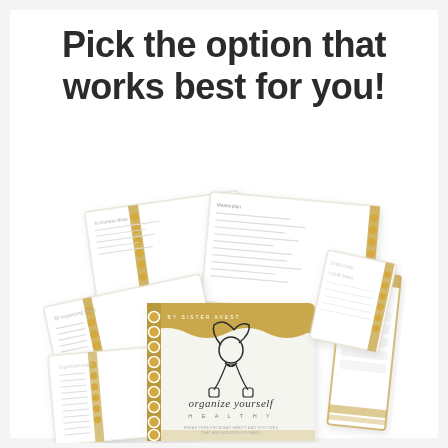Pick the option that works best for you!
[Figure (illustration): Spiral-bound planner/journal titled 'organize yourself healthy' by Sister Avest with gold accents, surrounded by open worksheet pages fanned out, showing a stylized line drawing of a girl on the cover. Tagline: 'Break free from bad habits and routines that are holding you back.']